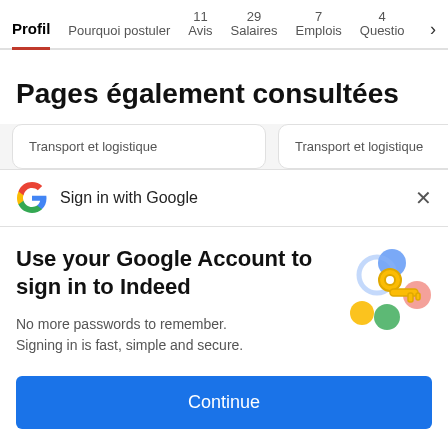Profil | Pourquoi postuler | 11 Avis | 29 Salaires | 7 Emplois | 4 Questio >
Pages également consultées
Transport et logistique
Transport et logistique
Sign in with Google
Use your Google Account to sign in to Indeed
No more passwords to remember. Signing in is fast, simple and secure.
Continue